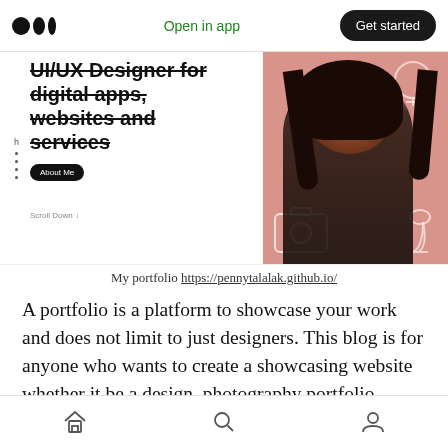Open in app  Get started
[Figure (screenshot): Screenshot of a portfolio website showing 'UI/UX Designer for digital apps, websites and services' with an About Me button and a photo of a woman on a pink background with design icons]
My portfolio https://pennytalalak.github.io/
A portfolio is a platform to showcase your work and does not limit to just designers. This blog is for anyone who wants to create a showcasing website whether it be a design, photography portfolio, freelancing business or even your CV.
Home  Search  Profile